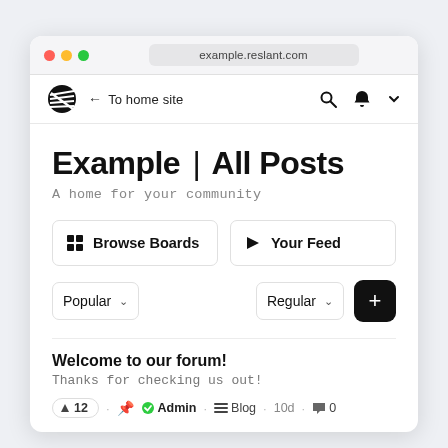[Figure (screenshot): Browser window screenshot showing a forum website at example.reslant.com with 'Example | All Posts' heading, Browse Boards and Your Feed buttons, Popular and Regular dropdowns, and a welcome post.]
example.reslant.com
Example | All Posts
A home for your community
Browse Boards
Your Feed
Popular  ∨    Regular  ∨
Welcome to our forum!
Thanks for checking us out!
^ 12 · 📌 ✅ Admin · ≡ Blog · 10d · 💬 0